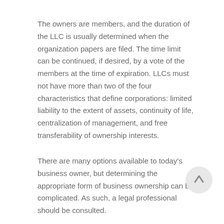The owners are members, and the duration of the LLC is usually determined when the organization papers are filed. The time limit can be continued, if desired, by a vote of the members at the time of expiration. LLCs must not have more than two of the four characteristics that define corporations: limited liability to the extent of assets, continuity of life, centralization of management, and free transferability of ownership interests.
There are many options available to today's business owner, but determining the appropriate form of business ownership can be complicated. As such, a legal professional should be consulted.